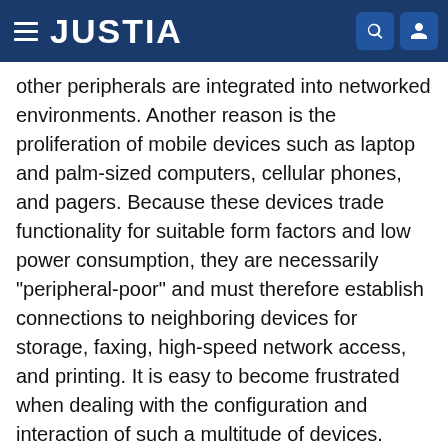JUSTIA
other peripherals are integrated into networked environments. Another reason is the proliferation of mobile devices such as laptop and palm-sized computers, cellular phones, and pagers. Because these devices trade functionality for suitable form factors and low power consumption, they are necessarily "peripheral-poor" and must therefore establish connections to neighboring devices for storage, faxing, high-speed network access, and printing. It is easy to become frustrated when dealing with the configuration and interaction of such a multitude of devices. Service discovery technologies were developed to reduce this frustration and to simplify the use of mobile devices in a network by allowing them to be "discovered," configured, and used by other devices with a minimum of manual effort. Although most of these "service discovery suites" promise similar functionality—namely,